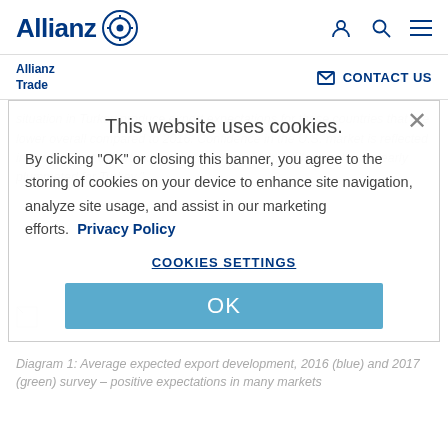Allianz logo and navigation icons
Allianz Trade | CONTACT US
situation in Turkey produce export expectations for these countries that are lower overall compared to 2016. Confidence in the U.S. market is reflected in the fact that export expectations remain high, while they have clearly plummeted for Turkey.
This website uses cookies.
By clicking "OK" or closing this banner, you agree to the storing of cookies on your device to enhance site navigation, analyze site usage, and assist in our marketing efforts. Privacy Policy

COOKIES SETTINGS

OK
[Figure (other): Small broken image placeholder]
Diagram 1: Average expected export development, 2016 (blue) and 2017 (green) survey – positive expectations in many markets